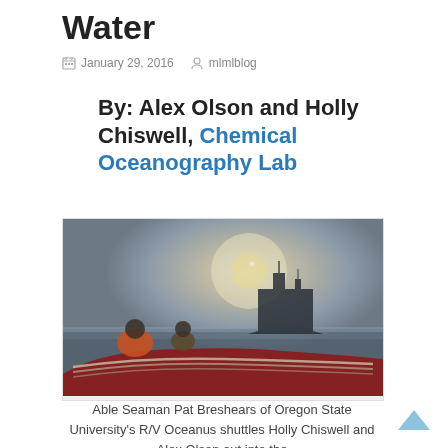Water
January 29, 2016   mlmlblog
By: Alex Olson and Holly Chiswell, Chemical Oceanography Lab
[Figure (photo): Two people on a small inflatable vessel in foggy conditions at sea, with a large ship silhouetted in the background. Ropes are visible in the foreground.]
Able Seaman Pat Breshears of Oregon State University's R/V Oceanus shuttles Holly Chiswell and Alex Olson out into the